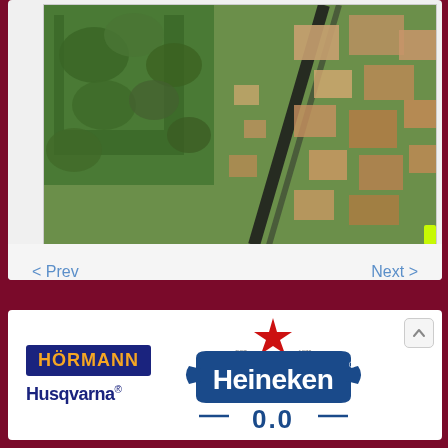[Figure (screenshot): Aerial satellite map view showing buildings, roads, and green areas from above]
< Prev
Next >
[Figure (logo): Hörmann logo - white text on dark blue background with orange text]
[Figure (logo): Husqvarna logo - dark navy blue text]
[Figure (logo): Heineken 0.0 logo with red star and blue banner]